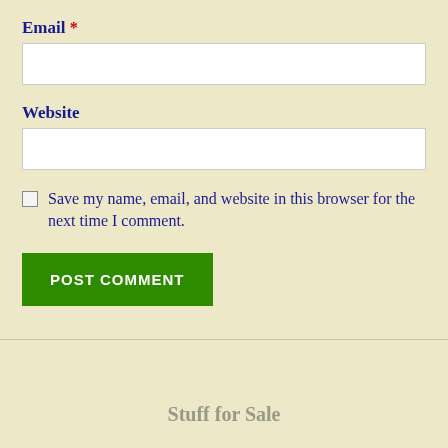Email *
Website
Save my name, email, and website in this browser for the next time I comment.
POST COMMENT
Stuff for Sale